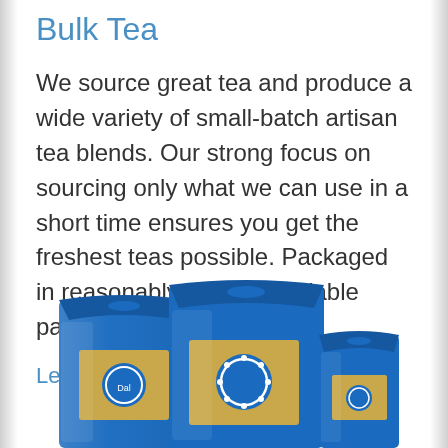Bulk Tea
We source great tea and produce a wide variety of small-batch artisan tea blends. Our strong focus on sourcing only what we can use in a short time ensures you get the freshest teas possible. Packaged in reasonably sized resealable packages.
Learn More
[Figure (photo): Three blue metallic resealable tea packages of different sizes arranged together, each with a gold label and blue circular logo.]